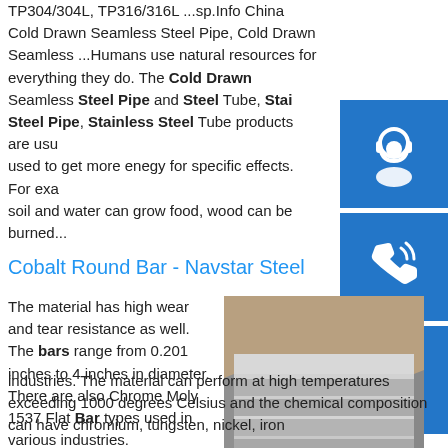TP304/304L, TP316/316L ...sp.Info China Cold Drawn Seamless Steel Pipe, Cold Drawn Seamless ...Humans use natural resources for everything they do. The Cold Drawn Seamless Steel Pipe and Steel Tube, Stainless Steel Pipe, Stainless Steel Tube products are usually used to get more enegy for specific effects. For example, soil and water can grow food, wood can be burned...
[Figure (illustration): Blue square icon with white headset/customer support symbol]
[Figure (illustration): Blue square icon with white phone/call symbol]
[Figure (illustration): Blue square icon with white Skype logo symbol]
Cobalt Round Bar - Navstar Steel
The material has high wear and tear resistance as well. The bars range from 0.201 inches to 4 inches in diameter. There are also Chrome Moly 1537 Flat Bar types used in various industries. The material can perform at high temperatures exceeding 1000 degrees Celsius and the chemical composition can have chromium, tungsten, nickel, iron
[Figure (photo): Stack of flat gray metal plates/bars photographed from the side]